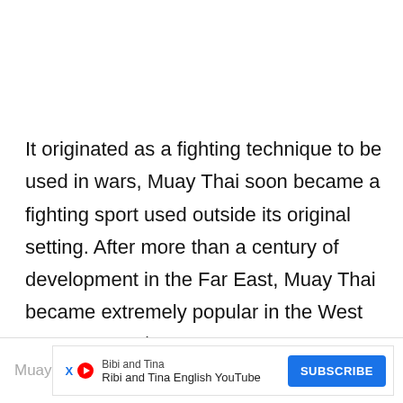It originated as a fighting technique to be used in wars, Muay Thai soon became a fighting sport used outside its original setting. After more than a century of development in the Far East, Muay Thai became extremely popular in the West during the 20th and 21st centuries, when Western practitioners that came from Thailand started using the discipline in kickboxing and MMA competitions, thus introducing and popularising
Muay  Bibi and Tina  Ribi and Tina English YouTube  SUBSCRIBE